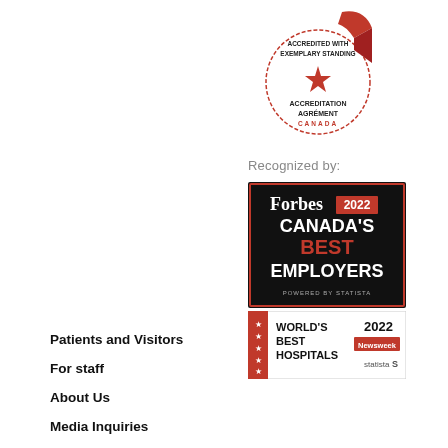[Figure (logo): Accreditation Canada badge — circular badge with red ribbon, red star, text 'ACCREDITED WITH EXEMPLARY STANDING', 'ACCREDITATION AGRÉMENT CANADA']
Recognized by:
[Figure (logo): Forbes 2022 Canada's Best Employers badge — black background with Forbes logo, '2022' in red box, 'CANADA'S BEST EMPLOYERS' in white and red text, 'POWERED BY STATISTA' subtitle]
[Figure (logo): World's Best Hospitals 2022 badge — white background with red left bar with stars, 'WORLD'S BEST HOSPITALS' in bold black text, '2022', Newsweek logo, Statista logo]
Patients and Visitors
For staff
About Us
Media Inquiries